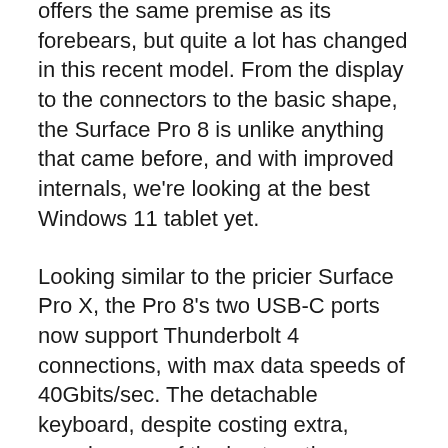offers the same premise as its forebears, but quite a lot has changed in this recent model. From the display to the connectors to the basic shape, the Surface Pro 8 is unlike anything that came before, and with improved internals, we're looking at the best Windows 11 tablet yet.
Looking similar to the pricier Surface Pro X, the Pro 8's two USB-C ports now support Thunderbolt 4 connections, with max data speeds of 40Gbits/sec. The detachable keyboard, despite costing extra, remains one of the best on the market, and the new charging connector works wonders, too. The integrated kickstand can be used to set the Surface Pro 8 to any viewing angle you wish, and the 3:2 aspect ratio display is perfect for working on while in laptop mode. The new 120Hz refresh rate is a real treat, as well.
Performance was also rock-solid in our tests, with the Intel Core i7-1185G7 CPU outperforming its predecessor with more than double the speeds in our benchmarks. Battery life remains the only sticking point, but at seven